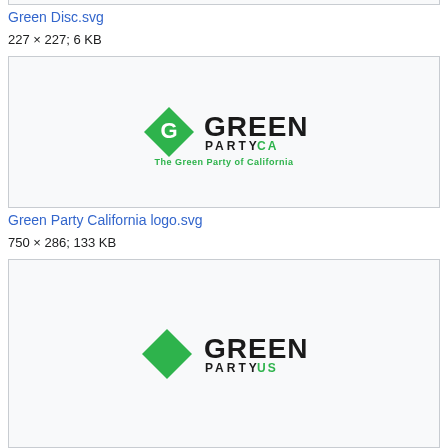[Figure (logo): Top border box (partial, cropped at top of page)]
Green Disc.svg
227 × 227; 6 KB
[Figure (logo): Green Party California logo: diamond shape with G icon, text GREEN PARTY CA, The Green Party of California]
Green Party California logo.svg
750 × 286; 133 KB
[Figure (logo): Green Party US logo: green diamond shape, text GREEN PARTY US]